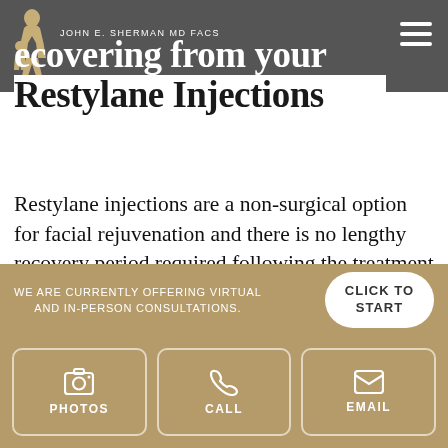JOHN E. SHERMAN MD FACS
Recovering from your Restylane Injections
Restylane injections are a non-surgical option for facial rejuvenation and there is no lengthy recovery period required following the treatment process. There may be some redness and mild swelling around the injection sites, but these issues should subside over the next day or so. Some results should be seen immediately, but it will take several weeks to see the full results from a Restylane treatment.
WE ARE CURRENTLY OFFERING VIRTUAL AND IN-PERSON CONSULTATIONS.
CLICK TO START
PHOTOS
CALL
EMAIL